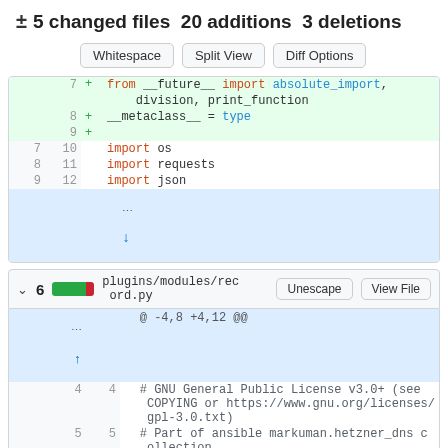± 5 changed files 20 additions 3 deletions
Whitespace | Split View | Diff Options
[Figure (screenshot): Code diff view showing added lines 7-9 with from __future__ import absolute_import, division, print_function; __metaclass__ = type; and blank line, plus unchanged lines 7-9 (10-12) showing import os, import requests, import json, and an expand row]
∨ 6  plugins/modules/record.py  Unescape  View File
@ -4,8 +4,12 @@
4  4  # GNU General Public License v3.0+ (see COPYING or https://www.gnu.org/licenses/gpl-3.0.txt)
5  5  # Part of ansible markuman.hetzner_dns collection